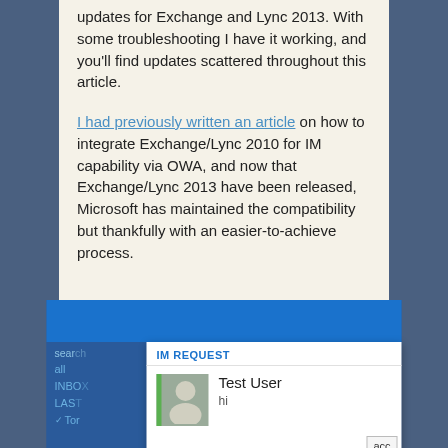updates for Exchange and Lync 2013. With some troubleshooting I have it working, and you'll find updates scattered throughout this article.
I had previously written an article on how to integrate Exchange/Lync 2010 for IM capability via OWA, and now that Exchange/Lync 2013 have been released, Microsoft has maintained the compatibility but thankfully with an easier-to-achieve process.
[Figure (screenshot): Screenshot of OWA (Outlook Web App) interface showing an IM REQUEST popup dialog with Test User and message 'hi', alongside the OWA sidebar showing search, all, INBOX, LAST, and a Tor item, with a blue header bar at the top.]